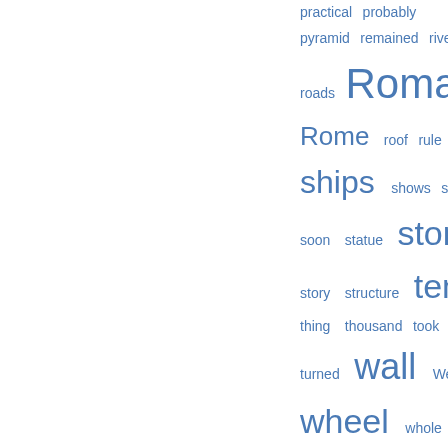[Figure (infographic): Tag cloud showing words in varying sizes and blue colors: practical, probably, pyramid, remained, river, roads, Roman, Rome, roof, rule, sail, ships, shows, side, soon, statue, stone, story, structure, temple, thing, thousand, took, tower, turned, wall, West, wheel, whole, wooden]
Referencias a este libro
Die Diadochen: Alex... kämpfen um d. Welt
Gerhard Herm
Vista de fragmentos
Famous Firsts in th...